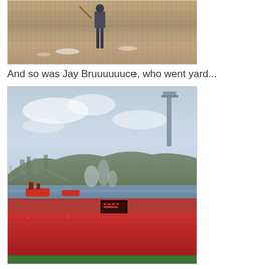[Figure (photo): Baseball player in batting cage or field with net visible in background, dirt/clay field surface]
And so was Jay Bruuuuuuce, who went yard...
[Figure (photo): Aerial view of a baseball stadium (Great American Ball Park, Cincinnati) with fireworks or home run celebration smoke, river and city visible in background, packed red crowd in stands]